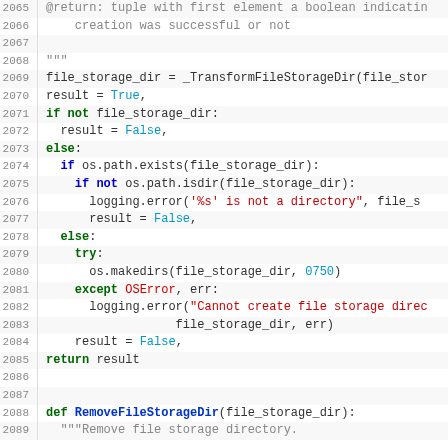[Figure (screenshot): Python source code viewer showing lines 2065-2089 with syntax highlighting. Line numbers in grey on left, code with keyword highlighting in green/blue/red on right.]